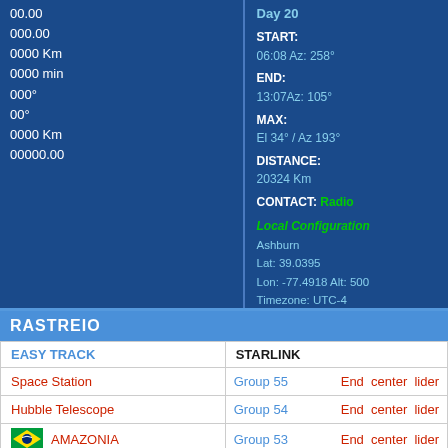00.00
000.00
0000 Km
0000 min
000°
00°
0000 Km
00000.00
Day 20
START:
06:08 Az: 258°
END:
13:07Az: 105°
MAX:
El 34° / Az 193°
DISTANCE:
20324 Km
CONTACT: Radio
Local Configuration
Ashburn
Lat: 39.0395
Lon: -77.4918 Alt: 500
Timezone: UTC-4
RASTREIO
| EASY TRACK | STARLINK |
| --- | --- |
| Space Station | Group 55  End  center  lider |
| Hubble Telescope | Group 54  End  center  lider |
| AMAZONIA | Group 53  End  center  lider |
| China Space Station |  |